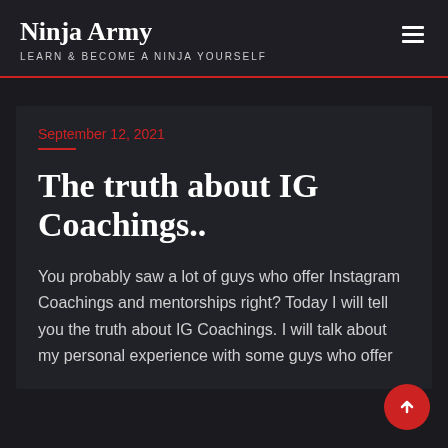Ninja Army — LEARN & BECOME A NINJA YOURSELF
September 12, 2021
The truth about IG Coachings..
You probably saw a lot of guys who offer Instagram Coachings and mentorships right? Today I will tell you the truth about IG Coachings. I will talk about my personal experience with some guys who offer